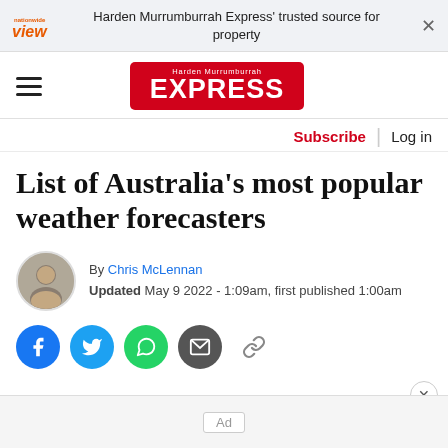Harden Murrumburrah Express' trusted source for property
[Figure (logo): Harden Murrumburrah Express newspaper masthead logo with red background]
Subscribe | Log in
List of Australia's most popular weather forecasters
By Chris McLennan
Updated May 9 2022 - 1:09am, first published 1:00am
[Figure (infographic): Social share buttons: Facebook, Twitter, WhatsApp, Email, Copy link]
Ad